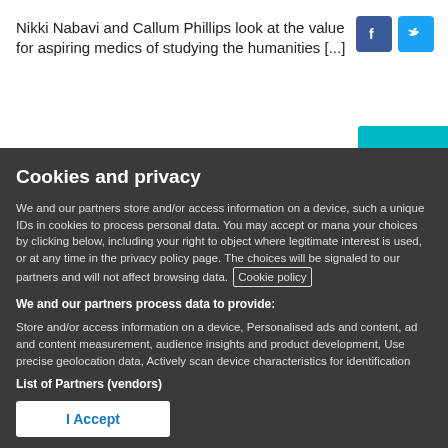Nikki Nabavi and Callum Phillips look at the value for aspiring medics of studying the humanities [...]
[Figure (logo): Facebook icon (blue square with white f)]
[Figure (logo): Twitter icon (blue square with white bird)]
Cookies and privacy
We and our partners store and/or access information on a device, such as unique IDs in cookies to process personal data. You may accept or manage your choices by clicking below, including your right to object where legitimate interest is used, or at any time in the privacy policy page. These choices will be signaled to our partners and will not affect browsing data. Cookie policy
We and our partners process data to provide:
Store and/or access information on a device, Personalised ads and content, ad and content measurement, audience insights and product development, Use precise geolocation data, Actively scan device characteristics for identification
List of Partners (vendors)
I Accept